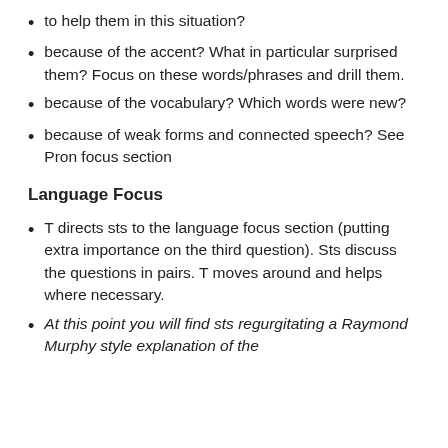to help them in this situation?
because of the accent? What in particular surprised them? Focus on these words/phrases and drill them.
because of the vocabulary? Which words were new?
because of weak forms and connected speech? See Pron focus section
Language Focus
T directs sts to the language focus section (putting extra importance on the third question). Sts discuss the questions in pairs. T moves around and helps where necessary.
At this point you will find sts regurgitating a Raymond Murphy style explanation of the